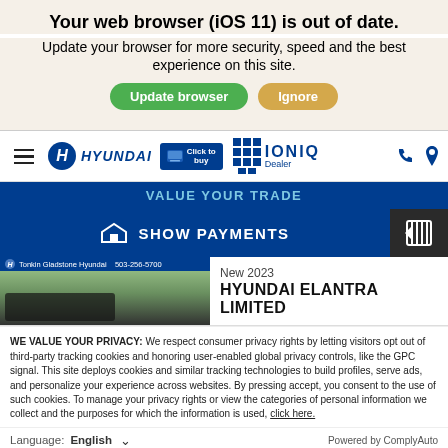Your web browser (iOS 11) is out of date.
Update your browser for more security, speed and the best experience on this site.
[Figure (screenshot): Hyundai dealership website navigation bar with hamburger menu, Hyundai logo, Click to Buy button, IONIQ Dealer logo, phone and location icons]
Value Your Trade
SHOW PAYMENTS
[Figure (screenshot): Tonkin Gladstone Hyundai dealer listing card showing car image, phone number 503-256-5700, New 2023 Hyundai Elantra Limited]
WE VALUE YOUR PRIVACY: We respect consumer privacy rights by letting visitors opt out of third-party tracking cookies and honoring user-enabled global privacy controls, like the GPC signal. This site deploys cookies and similar tracking technologies to build profiles, serve ads, and personalize your experience across websites. By pressing accept, you consent to the use of such cookies. To manage your privacy rights or view the categories of personal information we collect and the purposes for which the information is used, click here.
Language:  English
Powered by ComplyAuto
Accept and Continue →
Privacy Policy